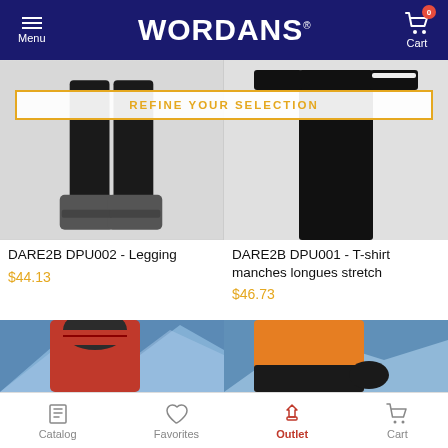WORDANS — Menu | Cart (0)
REFINE YOUR SELECTION
[Figure (photo): Bottom portion of a person wearing leggings and ski boots, white background]
[Figure (photo): Person in black long-sleeve stretch T-shirt, white background]
DARE2B DPU002 - Legging
$44.13
DARE2B DPU001 - T-shirt manches longues stretch
$46.73
[Figure (photo): Person wearing red winter jacket and red/black knit beanie hat against snowy mountain background]
[Figure (photo): Close-up of orange and black winter jacket with gloves against snowy mountain background]
Catalog | Favorites | Outlet | Cart